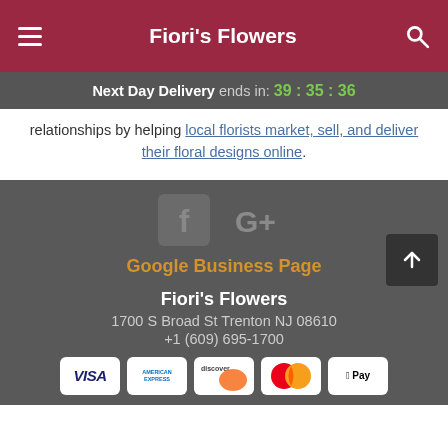Fiori's Flowers
Next Day Delivery ends in: 39:35:36
relationships by helping local florists market, sell, and deliver their floral designs online.
[Figure (logo): Facebook icon and Google+ icon in grey]
Google Business Page
Fiori's Flowers
1700 S Broad St Trenton NJ 08610
+1 (609) 695-1700
[Figure (other): Payment icons: Visa, American Express, Discover, Mastercard, Apple Pay]